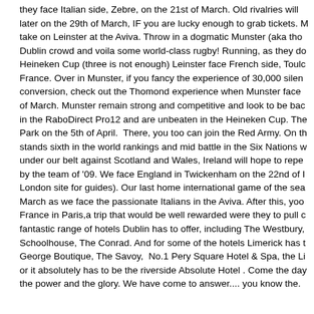they face Italian side, Zebre, on the 21st of March. Old rivalries will later on the 29th of March, IF you are lucky enough to grab tickets. M take on Leinster at the Aviva. Throw in a dogmatic Munster (aka tho Dublin crowd and voila some world-class rugby! Running, as they do Heineken Cup (three is not enough) Leinster face French side, Toulc France. Over in Munster, if you fancy the experience of 30,000 silen conversion, check out the Thomond experience when Munster face of March. Munster remain strong and competitive and look to be bac in the RaboDirect Pro12 and are unbeaten in the Heineken Cup. The Park on the 5th of April.  There, you too can join the Red Army. On th stands sixth in the world rankings and mid battle in the Six Nations w under our belt against Scotland and Wales, Ireland will hope to repe by the team of '09. We face England in Twickenham on the 22nd of I London site for guides). Our last home international game of the sea March as we face the passionate Italians in the Aviva. After this, yoo France in Paris,a trip that would be well rewarded were they to pull c fantastic range of hotels Dublin has to offer, including The Westbury, Schoolhouse, The Conrad. And for some of the hotels Limerick has t George Boutique, The Savoy,  No.1 Pery Square Hotel & Spa, the Li or it absolutely has to be the riverside Absolute Hotel . Come the day the power and the glory. We have come to answer.... you know the.